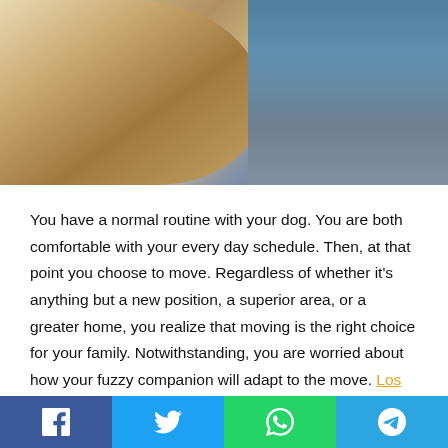[Figure (photo): A golden Labrador dog sitting on the floor next to a person in jeans who appears to be packing or moving boxes]
You have a normal routine with your dog. You are both comfortable with your every day schedule. Then, at that point you choose to move. Regardless of whether it's anything but a new position, a superior area, or a greater home, you realize that moving is the right choice for your family. Notwithstanding, you are worried about how your fuzzy companion will adapt to the move. Los Angeles movers will help you relocate with your dogs easily. You understand you need to consider re-mingling your dog in your new climate.
You should acquaint your canine with their new environmental